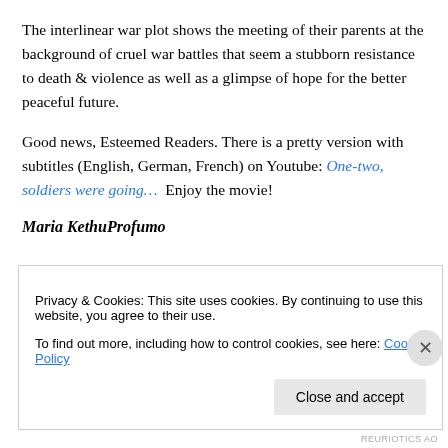The interlinear war plot shows the meeting of their parents at the background of cruel war battles that seem a stubborn resistance to death & violence as well as a glimpse of hope for the better peaceful future.
Good news, Esteemed Readers. There is a pretty version with subtitles (English, German, French) on Youtube: One-two, soldiers were going… Enjoy the movie!
Maria KethuProfumo
Privacy & Cookies: This site uses cookies. By continuing to use this website, you agree to their use.
To find out more, including how to control cookies, see here: Cookie Policy
Close and accept
REURIOTICS AO